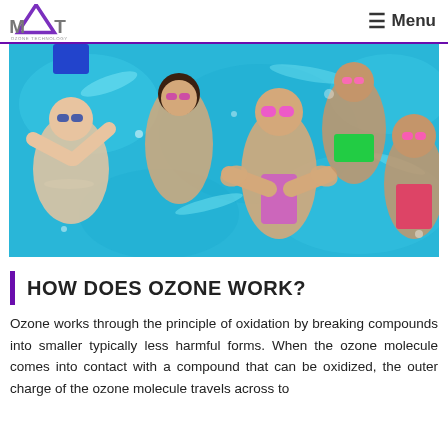MAT OZONE TECHNOLOGY | Menu
[Figure (photo): Underwater photo of five children swimming in a pool, wearing colorful goggles and swimsuits, waving and smiling at the camera.]
HOW DOES OZONE WORK?
Ozone works through the principle of oxidation by breaking compounds into smaller typically less harmful forms. When the ozone molecule comes into contact with a compound that can be oxidized, the outer charge of the ozone molecule travels across to